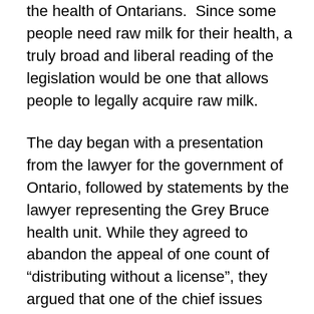the health of Ontarians.  Since some people need raw milk for their health, a truly broad and liberal reading of the legislation would be one that allows people to legally acquire raw milk.
The day began with a presentation from the lawyer for the government of Ontario, followed by statements by the lawyer representing the Grey Bruce health unit. While they agreed to abandon the appeal of one count of “distributing without a license”, they argued that one of the chief issues under appeal is Michael Schmidt’s cowshare distribution arrangement and whether it is in fact legal. Much was made of how the cowshare agreement is unclear and not well documented, and they wondered how exactly 150 families each get an ownership share of 24 cows. They suggested that the cowshare arrangement is in fact, just a membership scheme, not much different from Costco, and